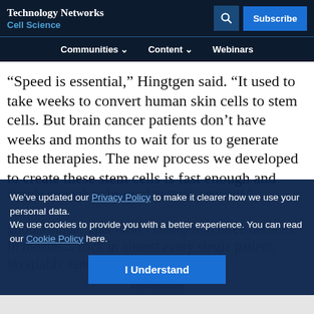Technology Networks
Cell Science
Communities ∨   Content ∨   Webinars
“Speed is essential,” Hingtgen said. “It used to take weeks to convert human skin cells to stem cells. But brain cancer patients don’t have weeks and months to wait for us to generate these therapies. The new process we developed to create these stem cells is fast enough and simple enough to be used to treat a patient.
We’ve updated our Privacy Policy to make it clearer how we use your personal data.
We use cookies to provide you with a better experience. You can read our Cookie Policy here.
I Understand
glioblastoma... That hasn’t changed in three decades. In months... back in almost every single patient, invariably sending tiny tendrils out
Advertisement